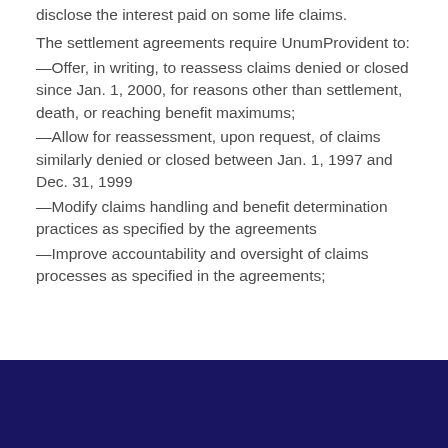disclose the interest paid on some life claims.
The settlement agreements require UnumProvident to:
—Offer, in writing, to reassess claims denied or closed since Jan. 1, 2000, for reasons other than settlement, death, or reaching benefit maximums;
—Allow for reassessment, upon request, of claims similarly denied or closed between Jan. 1, 1997 and Dec. 31, 1999
—Modify claims handling and benefit determination practices as specified by the agreements
—Improve accountability and oversight of claims processes as specified in the agreements;